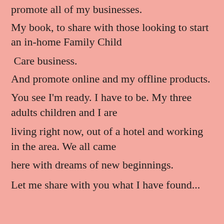promote all of my businesses.
My book, to share with those looking to start an in-home Family Child
Care business.
And promote online and my offline products.
You see I'm ready. I have to be. My three adults children and I are
living right now, out of a hotel and working in the area. We all came
here with dreams of new beginnings.
Let me share with you what I have found...